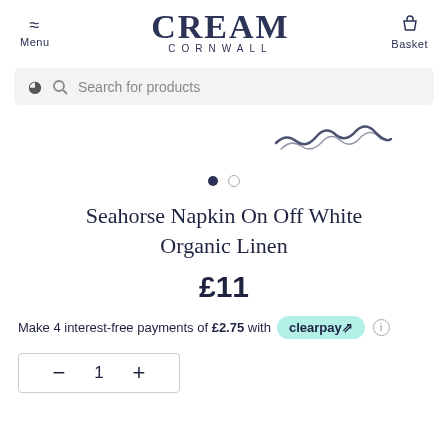Menu | CREAM CORNWALL | Basket
Search for products
[Figure (illustration): Partial view of a seahorse or decorative nautical motif in dark blue/navy, cropped at top right of product image area]
Seahorse Napkin On Off White Organic Linen
£11
Make 4 interest-free payments of £2.75 with clearpay
— 1 +